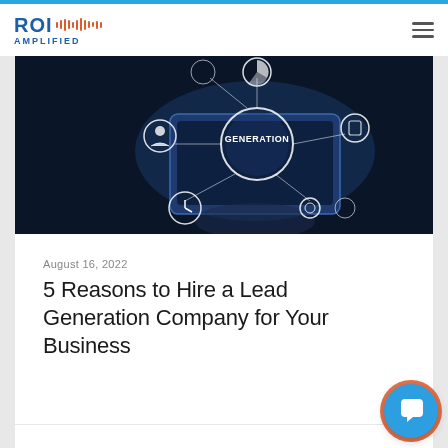ROI AMPLIFIED
[Figure (photo): Dark background image showing a hand holding a tablet with glowing white circular icons connected by lines representing lead generation concepts: a pie chart, person icon, clock, gears, phone, and a central circle labeled GENERATION]
August 16, 2022
5 Reasons to Hire a Lead Generation Company for Your Business
Breanne Neely